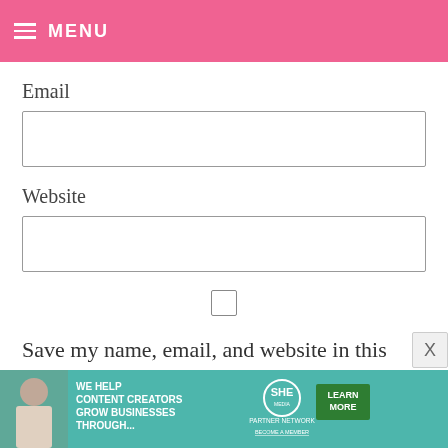MENU
Email
Website
Save my name, email, and website in this browser for the next time I comment.
[Figure (screenshot): Advertisement banner: WE HELP CONTENT CREATORS GROW BUSINESSES THROUGH... SHE PARTNER NETWORK BECOME A MEMBER, LEARN MORE button]